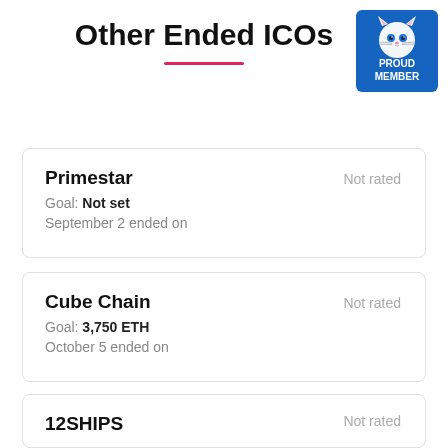Other Ended ICOs
[Figure (illustration): Blue badge with a cat icon and text PROUD MEMBER]
Primestar — Not rated — Goal: Not set — September 2 ended on
Cube Chain — Not rated — Goal: 3,750 ETH — October 5 ended on
12SHIPS — Not rated